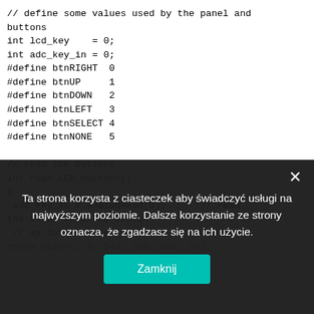[Figure (screenshot): Code editor screenshot showing Arduino C code: variable declarations (lcd_key, adc_key_in), #define macros for button constants (btnRIGHT=0, btnUP=1, btnDOWN=2, btnLEFT=3, btnSELECT=4, btnNONE=5), and a read_LCD_buttons() function with analogRead(0) call and comment about button values.]
Ta strona korzysta z ciasteczek aby świadczyć usługi na najwyższym poziomie. Dalsze korzystanie ze strony oznacza, że zgadzasz się na ich użycie.
Zamknij